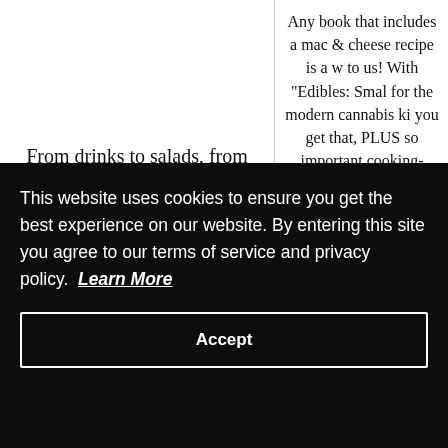From drinks to salads, from pasta to dessert - "Bong Appétit" has all your cooking questions answered!
Any book that includes a mac & cheese recipe is a win to us! With "Edibles: Small" for the modern cannabis ki you get that, PLUS some important cooking-with-ca knowledge.
[Figure (other): Red 'BUY NOW' button on left column]
[Figure (other): Red 'BUY NOW' button on right column]
This website uses cookies to ensure you get the best experience on our website. By entering this site you agree to our terms of service and privacy policy. Learn More
Accept